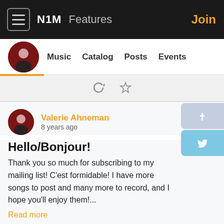N1M   Features   Join
Music   Catalog   Posts   Events
Valerie Ahneman
8 years ago
Hello/Bonjour!
Thank you so much for subscribing to my mailing list! C'est formidable! I have more songs to post and many more to record, and I hope you'll enjoy them!...
Read more
N1M uses cookies. By continuing to use the service, you agree to our use of cookies as described in the Cookie Policy.